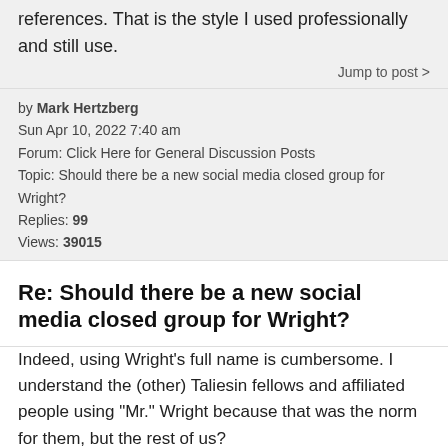references. That is the style I used professionally and still use.
Jump to post >
by Mark Hertzberg
Sun Apr 10, 2022 7:40 am
Forum: Click Here for General Discussion Posts
Topic: Should there be a new social media closed group for Wright?
Replies: 99
Views: 39015
Re: Should there be a new social media closed group for Wright?
Indeed, using Wright's full name is cumbersome. I understand the (other) Taliesin fellows and affiliated people using "Mr." Wright because that was the norm for them, but the rest of us?
Jump to post >
by Mark Hertzberg
Sat Apr 09, 2022 8:11 pm
Forum: Click Here for General Discussion Posts
Topic: Should there be a new social media closed group for Wright?
Replies: 99
Views: 39015
Re: Should there be a new social media closed group for Wright?